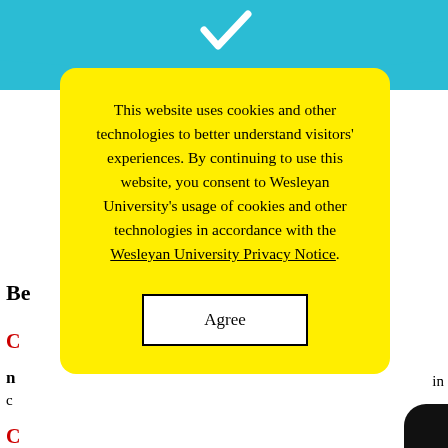[Figure (screenshot): Teal/blue decorative shape at the top of the page, partially visible]
This website uses cookies and other technologies to better understand visitors' experiences. By continuing to use this website, you consent to Wesleyan University's usage of cookies and other technologies in accordance with the Wesleyan University Privacy Notice.
Agree